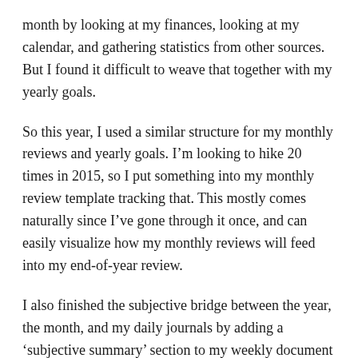month by looking at my finances, looking at my calendar, and gathering statistics from other sources. But I found it difficult to weave that together with my yearly goals.
So this year, I used a similar structure for my monthly reviews and yearly goals. I'm looking to hike 20 times in 2015, so I put something into my monthly review template tracking that. This mostly comes naturally since I've gone through it once, and can easily visualize how my monthly reviews will feed into my end-of-year review.
I also finished the subjective bridge between the year, the month, and my daily journals by adding a 'subjective summary' section to my weekly document template. When the week is done, I'll take a step back and talk about how I think it went, what the major focuses were, etc.
Lastly, I typed a whole heck of a lot in 2014. For my 365 journal entries for 2014, I wrote 331,445 words total, averaging 908 words per day. If I were writing a novel I would probably be happy with those stats. But I'm